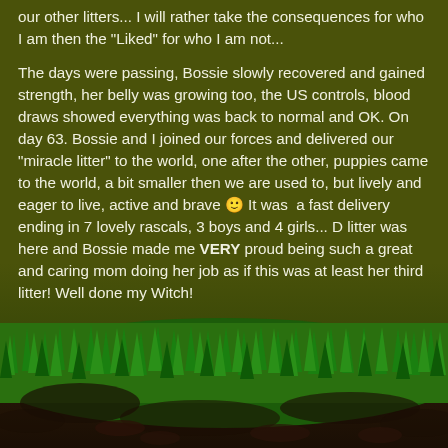our other litters... I will rather take the consequences for who I am then the "Liked" for who I am not...
The days were passing, Bossie slowly recovered and gained strength, her belly was growing too, the US controls, blood draws showed everything was back to normal and OK. On day 63. Bossie and I joined our forces and delivered our "miracle litter" to the world, one after the other, puppies came to the world, a bit smaller then we are used to, but lively and eager to live, active and brave 🙂 It was a fast delivery ending in 7 lovely rascals, 3 boys and 4 girls... D litter was here and Bossie made me VERY proud being such a great and caring mom doing her job as if this was at least her third litter! Well done my Witch!
[Figure (photo): Photograph of green grass and dark soil at the bottom of the page, creating a natural ground scene.]